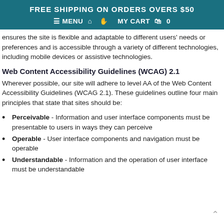FREE SHIPPING ON ORDERS OVERS $50
≡ MENU  🏠  👤  MY CART  🛍  0
ensures the site is flexible and adaptable to different users' needs or preferences and is accessible through a variety of different technologies, including mobile devices or assistive technologies.
Web Content Accessibility Guidelines (WCAG) 2.1
Wherever possible, our site will adhere to level AA of the Web Content Accessibility Guidelines (WCAG 2.1). These guidelines outline four main principles that state that sites should be:
Perceivable - Information and user interface components must be presentable to users in ways they can perceive
Operable - User interface components and navigation must be operable
Understandable - Information and the operation of user interface must be understandable